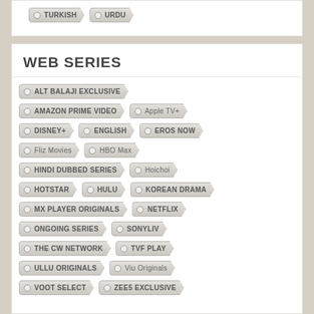TURKISH
URDU
WEB SERIES
ALT BALAJI EXCLUSIVE
AMAZON PRIME VIDEO
Apple TV+
DISNEY+
ENGLISH
EROS NOW
Fliz Movies
HBO Max
HINDI DUBBED SERIES
Hoichoi
HOTSTAR
HULU
KOREAN DRAMA
MX PLAYER ORIGINALS
NETFLIX
ONGOING SERIES
SONYLIV
THE CW NETWORK
TVF PLAY
ULLU ORIGINALS
Viu Originals
VOOT SELECT
ZEE5 EXCLUSIVE